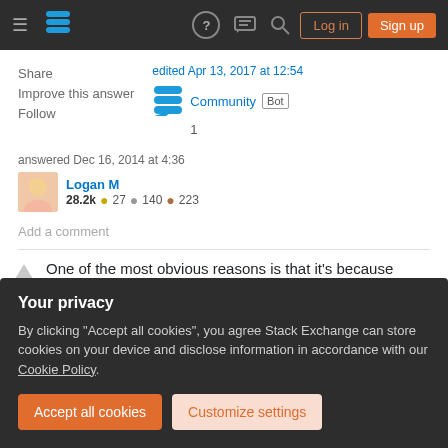Stack Exchange navigation bar with Log in and Sign up buttons
Share
Improve this answer
Follow
edited Apr 13, 2017 at 12:54
Community Bot 1
answered Dec 16, 2014 at 4:36
Logan M
28.2k 27 140 223
Add a comment
One of the most obvious reasons is that it's because
Your privacy
By clicking "Accept all cookies", you agree Stack Exchange can store cookies on your device and disclose information in accordance with our Cookie Policy.
Accept all cookies
Customize settings